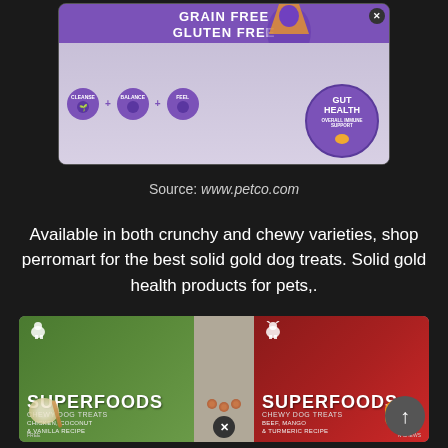[Figure (photo): Dog food bag with purple and gray packaging. Label reads GRAIN FREE GLUTEN FREE with Gut Health, CLEANSE, BALANCE, FEEL badges. Circular GUT HEALTH OVERALL IMMUNE SUPPORT seal on right side.]
Source: www.petco.com
Available in both crunchy and chewy varieties, shop perromart for the best solid gold dog treats. Solid gold health products for pets,.
[Figure (photo): Two Superfoods Chewy Dog Treats packages: green one (chicken, coconut & vanilla recipe) on left and red one (beef, mango & turmeric recipe) on right, with small treats visible between them.]